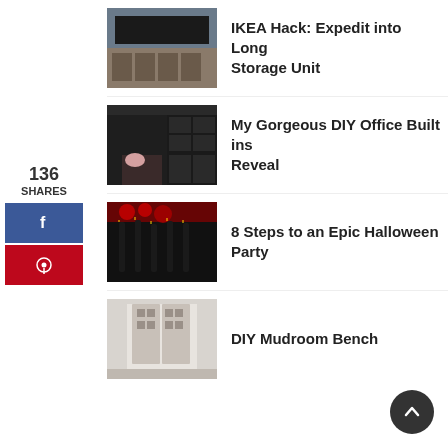[Figure (photo): Thumbnail of a living room with shelving unit with baskets and wall-mounted TV]
IKEA Hack: Expedit into Long Storage Unit
[Figure (photo): Thumbnail of a dark DIY office with built-in shelves and a pink chair]
My Gorgeous DIY Office Built ins Reveal
136
SHARES
[Figure (photo): Facebook share button]
[Figure (photo): Pinterest share button]
[Figure (photo): Thumbnail of Halloween candles in wine bottles with red balloons]
8 Steps to an Epic Halloween Party
[Figure (photo): Thumbnail of a mudroom with white built-in bench]
DIY Mudroom Bench